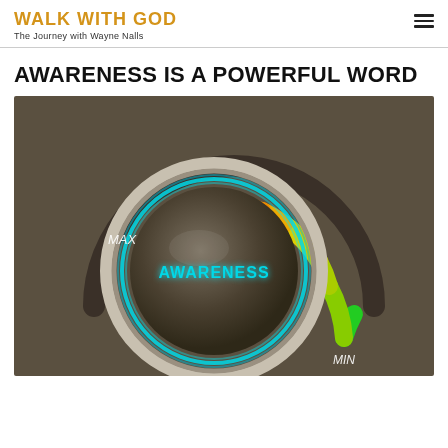WALK WITH GOD
The Journey with Wayne Nalls
AWARENESS IS A POWERFUL WORD
[Figure (illustration): A dial/knob labeled AWARENESS turned to near MAX. The dial has a chrome ring with cyan/blue glow at the base. A color arc from green (MIN, bottom right) through yellow, orange, to red (MAX, top left) indicates the level. The text MAX appears top-left and MIN bottom-right on a dark brownish background.]